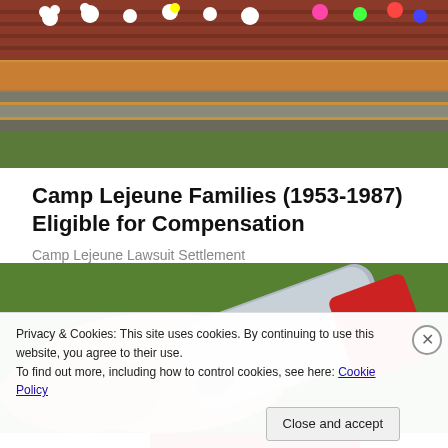[Figure (photo): Memorial display with flowers and stuffed animals against a brick wall, on a ground covered in autumn leaves]
Camp Lejeune Families (1953-1987) Eligible for Compensation
Camp Lejeune Lawsuit Settlement
[Figure (photo): Close-up of hands squeezing a silver/metal tube, possibly a cream or ointment tube, with a green blurred background]
Privacy & Cookies: This site uses cookies. By continuing to use this website, you agree to their use.
To find out more, including how to control cookies, see here: Cookie Policy
Close and accept